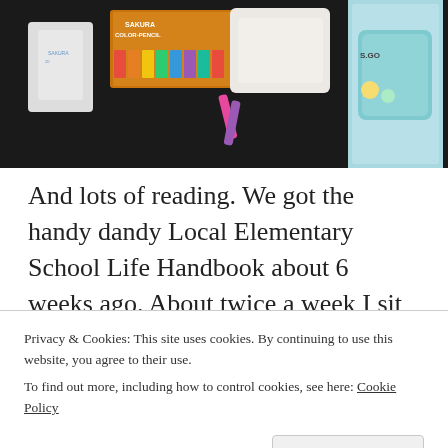[Figure (photo): Flat lay photo of school supplies on a dark background including white shoes, a box of Sakura color crayons, a white cloth/towel, pink and purple clips, and a mint green cup/container on the right side]
And lots of reading. We got the handy dandy Local Elementary School Life Handbook about 6 weeks ago. About twice a week I sit down to browse through it (picking up on something new each time)— reading through topics of what kinds of routines are helpful to establish now before school, what happens in scenario A,B, C, the different
Privacy & Cookies: This site uses cookies. By continuing to use this website, you agree to their use.
To find out more, including how to control cookies, see here: Cookie Policy
Close and accept